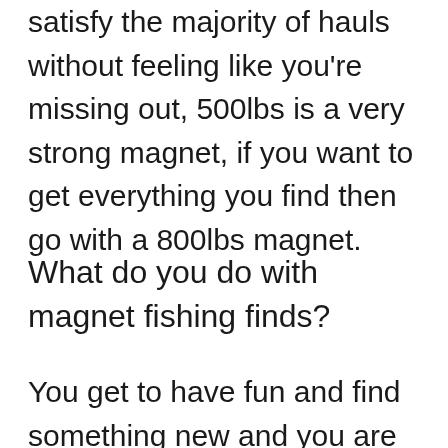satisfy the majority of hauls without feeling like you're missing out, 500lbs is a very strong magnet, if you want to get everything you find then go with a 800lbs magnet.
What do you do with magnet fishing finds?
You get to have fun and find something new and you are